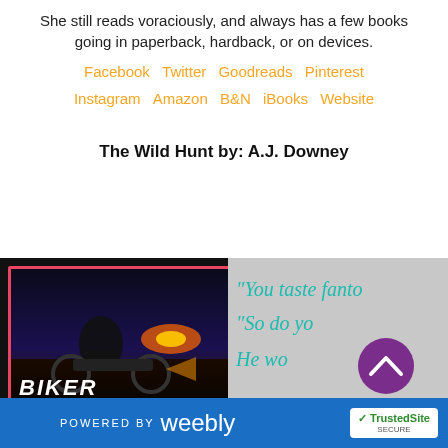She still reads voraciously, and always has a few books going in paperback, hardback, or on devices.
Facebook  Twitter  Goodreads  Pinterest  Instagram  Amazon  B&N  iBooks  Website
The Wild Hunt by: A.J. Downey
[Figure (illustration): Book promotional image showing a biker book cover on the left with dark background and red border, and teal cursive quote text on the right reading 'You taste fanta... So do y... He w...' with a purple circle chevron button overlay. Bottom text reads BIKER partially visible.]
POWERED BY weebly  TrustedSite